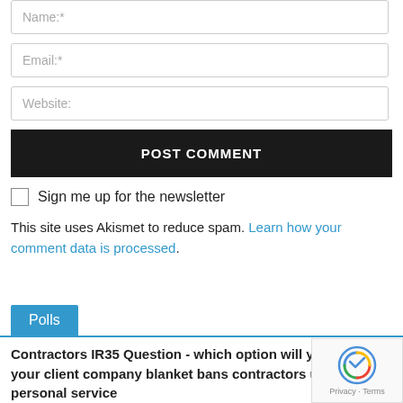Name:*
Email:*
Website:
POST COMMENT
Sign me up for the newsletter
This site uses Akismet to reduce spam. Learn how your comment data is processed.
Polls
Contractors IR35 Question - which option will you take if your client company blanket bans contractors using personal service